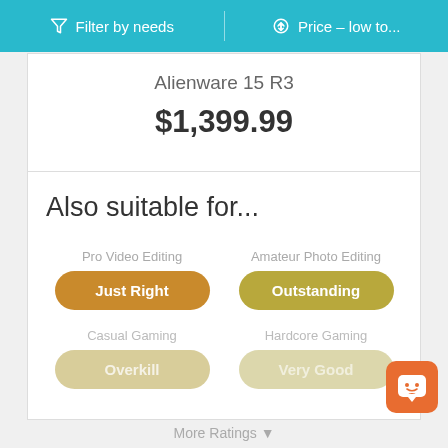Filter by needs | Price - low to...
Alienware 15 R3
$1,399.99
Also suitable for...
Pro Video Editing - Just Right
Amateur Photo Editing - Outstanding
Casual Gaming - Overkill
Hardcore Gaming - Very Good
More Ratings ▾